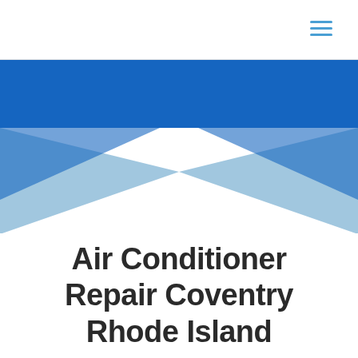[Figure (illustration): Decorative chevron/bowtie graphic made of blue triangles — a dark blue horizontal band at top with two light blue triangles pointing inward from left and right forming a bowtie shape against a white background]
Air Conditioner Repair Coventry Rhode Island